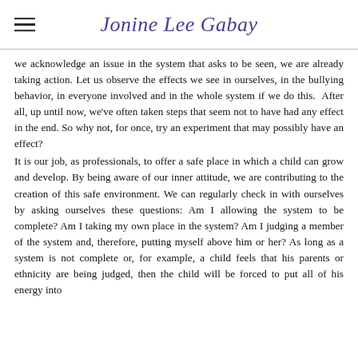Jonine Lee Gabay
we acknowledge an issue in the system that asks to be seen, we are already taking action. Let us observe the effects we see in ourselves, in the bullying behavior, in everyone involved and in the whole system if we do this.  After all, up until now, we've often taken steps that seem not to have had any effect in the end. So why not, for once, try an experiment that may possibly have an effect?
It is our job, as professionals, to offer a safe place in which a child can grow and develop. By being aware of our inner attitude, we are contributing to the creation of this safe environment. We can regularly check in with ourselves by asking ourselves these questions: Am I allowing the system to be complete? Am I taking my own place in the system? Am I judging a member of the system and, therefore, putting myself above him or her? As long as a system is not complete or, for example, a child feels that his parents or ethnicity are being judged, then the child will be forced to put all of his energy into